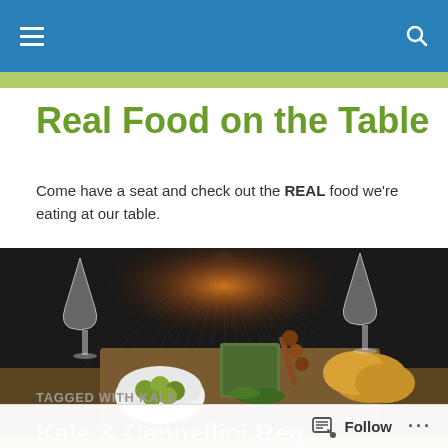Navigation bar with menu and search icons
Real Food on the Table
Come have a seat and check out the REAL food we're eating at our table.
[Figure (photo): Overhead/dim restaurant table scene with olives in a white bowl, cheese, bread rolls, skewered meats, wine glasses, and warm lamp light against a dark striped ceiling/background]
TAGGED WITH KALE
Kale & Cannellini Reg…